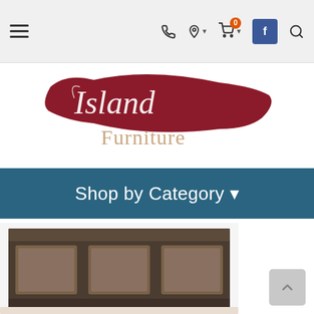Navigation bar with hamburger menu, phone, location, cart (0), Facebook, and search icons
[Figure (logo): Island Furniture store logo — cursive white 'Island' text over a dark red/crimson ribbon shape with 'Furniture' in tan/beige serif text below]
Shop by Category ▾
[Figure (photo): Partial product photo of a dark wood bedroom headboard with three padded panels, in a gray-brown rustic finish, viewed from the front]
[Figure (other): Back-to-top button (gray rounded rectangle with upward chevron arrow)]